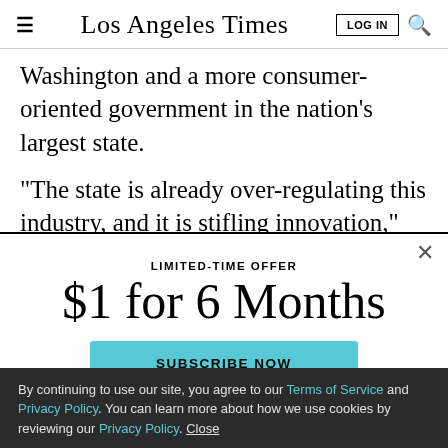Los Angeles Times — LOG IN | Search
Washington and a more consumer-oriented government in the nation’s largest state.
“The state is already over-regulating this industry, and it is stifling innovation,” said Grayson Brulte, an industry
LIMITED-TIME OFFER
$1 for 6 Months
SUBSCRIBE NOW
By continuing to use our site, you agree to our Terms of Service and Privacy Policy. You can learn more about how we use cookies by reviewing our Privacy Policy. Close